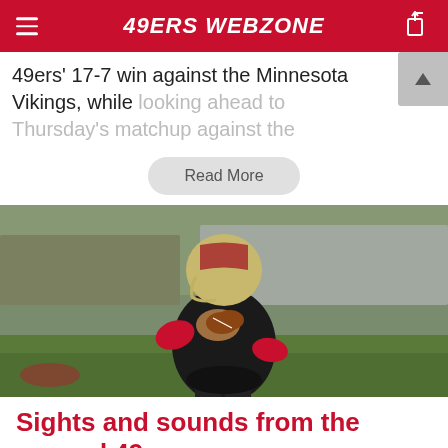49ERS WEBZONE
49ers' 17-7 win against the Minnesota Vikings, while looking ahead to Thursday's matchup against the
Read More
[Figure (photo): San Francisco 49ers quarterback in red and black practice uniform holding a football in a dropback pose on a practice field]
Sights and sounds from the second 49ers-